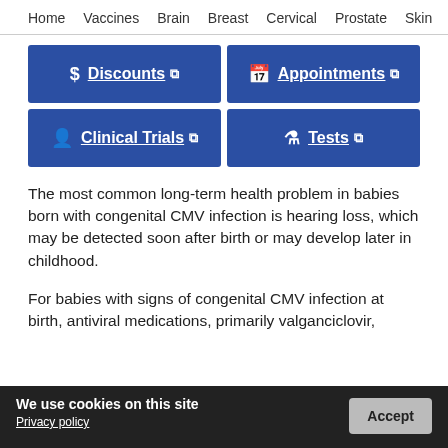Home  Vaccines  Brain  Breast  Cervical  Prostate  Skin
[Figure (infographic): Four blue navigation buttons: Discounts, Appointments, Clinical Trials, Tests]
The most common long-term health problem in babies born with congenital CMV infection is hearing loss, which may be detected soon after birth or may develop later in childhood.
For babies with signs of congenital CMV infection at birth, antiviral medications, primarily valganciclovir,
We use cookies on this site
Privacy policy